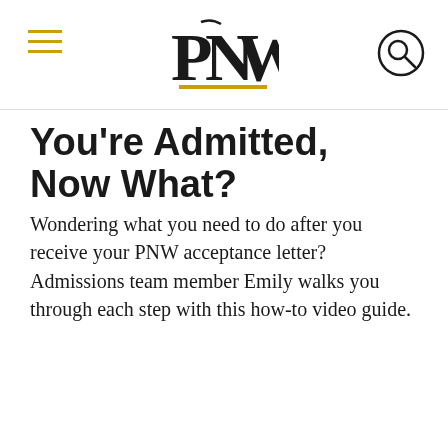PNW
You're Admitted, Now What?
Wondering what you need to do after you receive your PNW acceptance letter? Admissions team member Emily walks you through each step with this how-to video guide.